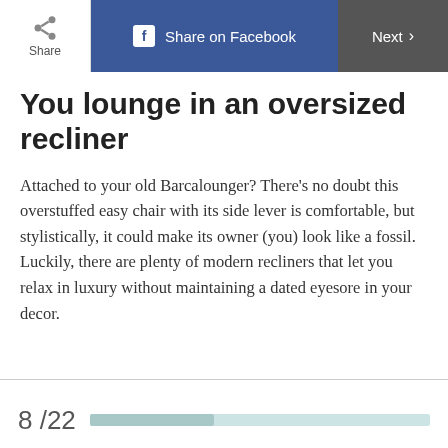Share | Share on Facebook | Next >
You lounge in an oversized recliner
Attached to your old Barcalounger? There's no doubt this overstuffed easy chair with its side lever is comfortable, but stylistically, it could make its owner (you) look like a fossil. Luckily, there are plenty of modern recliners that let you relax in luxury without maintaining a dated eyesore in your decor.
8 / 22